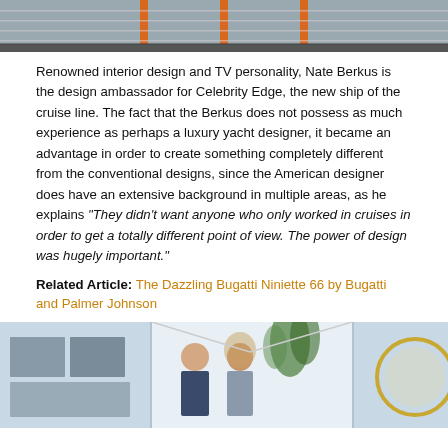[Figure (photo): Top partial image showing a ship deck with orange structural elements and rows of what appear to be loungers or seating areas]
Renowned interior design and TV personality, Nate Berkus is the design ambassador for Celebrity Edge, the new ship of the cruise line. The fact that the Berkus does not possess as much experience as perhaps a luxury yacht designer, it became an advantage in order to create something completely different from the conventional designs, since the American designer does have an extensive background in multiple areas, as he explains "They didn't want anyone who only worked in cruises in order to get a totally different point of view. The power of design was hugely important."
Related Article: The Dazzling Bugatti Niniette 66 by Bugatti and Palmer Johnson
[Figure (photo): Bottom image showing a bright interior space with a man and woman standing together, tropical plants, and a decorative circular mirror/sculpture]